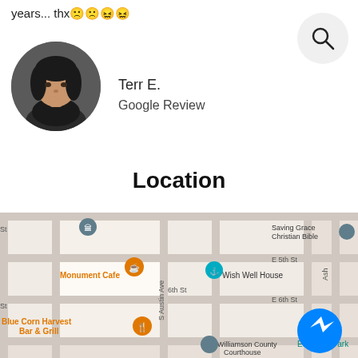years... thx🙁🙁😖😖
[Figure (photo): Circular avatar photo of a woman with dark hair, thinking pose with finger on chin]
Terr E.
Google Review
[Figure (other): Search icon in a light gray circle, top right corner]
Location
[Figure (map): Google Maps screenshot showing downtown area with Monument Cafe, Wish Well House, Blue Corn Harvest Bar & Grill, Saving Grace Christian Bible, Williamson County Courthouse, Edward's Park, various street labels including 6th St, S Austin Ave, E 5th St, E 6th St, Ash. Facebook Messenger icon visible bottom right.]